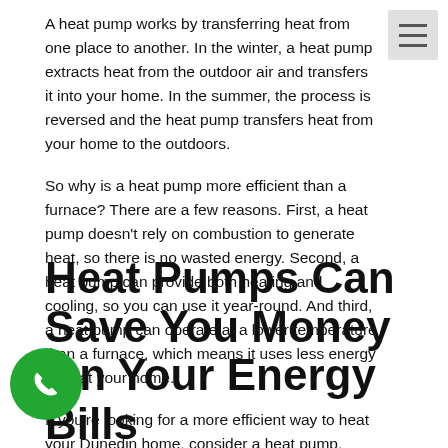A heat pump works by transferring heat from one place to another. In the winter, a heat pump extracts heat from the outdoor air and transfers it into your home. In the summer, the process is reversed and the heat pump transfers heat from your home to the outdoors.
So why is a heat pump more efficient than a furnace? There are a few reasons. First, a heat pump doesn't rely on combustion to generate heat, so there is no wasted energy. Second, a heat pump can provide both heating and cooling, so you can use it year-round. And third, a heat pump can operate at a lower temperature than a furnace, which means it uses less energy to heat your home.
If you're looking for a more efficient way to heat your Dunedin home, consider a heat pump. You'll save energy and money – and stay comfortable all year long.
Heat Pumps Can Save You Money On Your Energy Bills